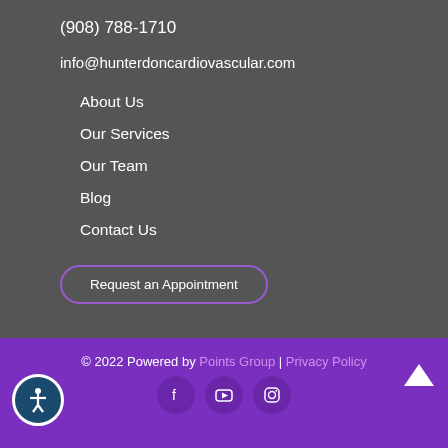(908) 788-1710
info@hunterdoncardiovascular.com
About Us
Our Services
Our Team
Blog
Contact Us
Request an Appointment
© 2022 Powered by Points Group | Privacy Policy